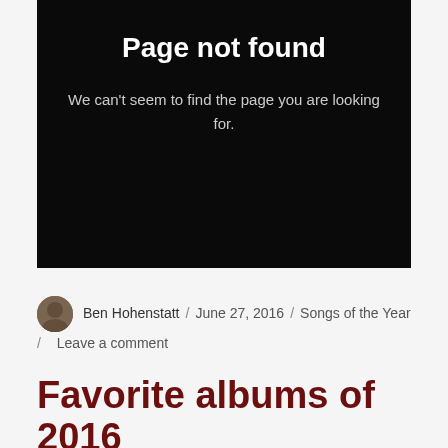[Figure (screenshot): Black error box with 'Page not found' heading and subtitle text on dark background]
Ben Hohenstatt / June 27, 2016 / Songs of the Year / Leave a comment
Favorite albums of 2016